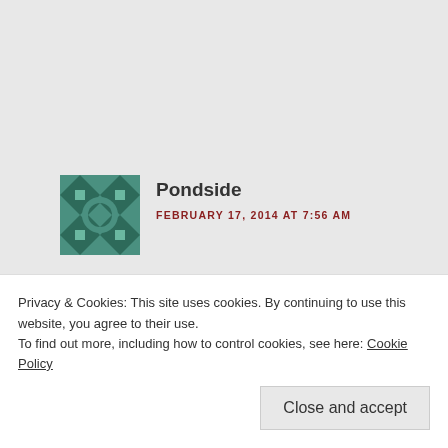[Figure (illustration): Green geometric/floral avatar icon for user Pondside]
Pondside
FEBRUARY 17, 2014 AT 7:56 AM
Things look much the same up here on Vancouver Island. The Pieris is such a wonderfully dependable plant – something
Privacy & Cookies: This site uses cookies. By continuing to use this website, you agree to their use.
To find out more, including how to control cookies, see here: Cookie Policy
Close and accept